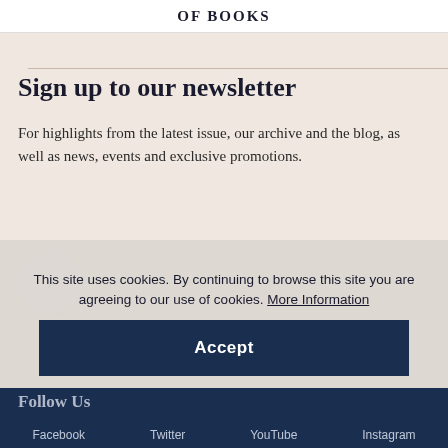OF BOOKS
Sign up to our newsletter
For highlights from the latest issue, our archive and the blog, as well as news, events and exclusive promotions.
This site uses cookies. By continuing to browse this site you are agreeing to our use of cookies. More Information
Accept
Follow Us
Facebook   Twitter   YouTube   Instagram